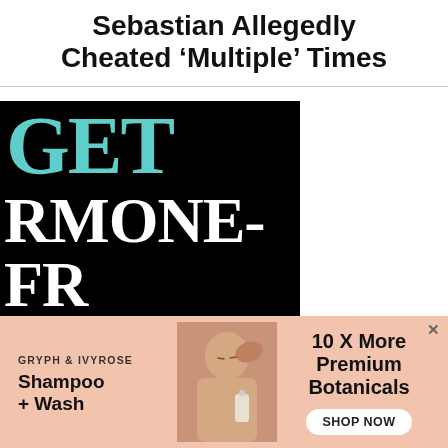Sebastian Allegedly Cheated 'Multiple' Times
[Figure (photo): Advertisement image with large teal and white text on black background reading 'GET HORMONE-FREE BIRTH CONTROL ONLINE']
[Figure (infographic): Advertisement for GRYPH & IVYROSE Shampoo + Wash. Pink background with photo of child washing hair. Text: 10 X More Premium Botanicals. SHOP NOW button.]